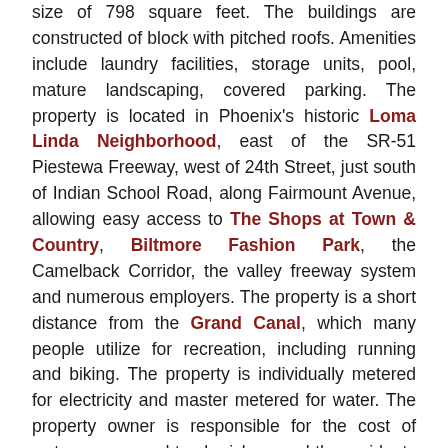size of 798 square feet. The buildings are constructed of block with pitched roofs. Amenities include laundry facilities, storage units, pool, mature landscaping, covered parking. The property is located in Phoenix's historic Loma Linda Neighborhood, east of the SR-51 Piestewa Freeway, west of 24th Street, just south of Indian School Road, along Fairmount Avenue, allowing easy access to The Shops at Town & Country, Biltmore Fashion Park, the Camelback Corridor, the valley freeway system and numerous employers. The property is a short distance from the Grand Canal, which many people utilize for recreation, including running and biking. The property is individually metered for electricity and master metered for water. The property owner is responsible for the cost of water, sewer, and trash pickup, and the residents are responsible for the cost of electricity in their units, including the cost of heating and air conditioning.
PLAN
BUY – Purchased for $1,500,000 on 1/15/2015.